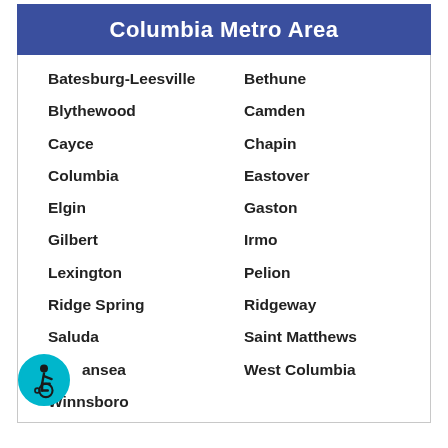Columbia Metro Area
Batesburg-Leesville
Bethune
Blythewood
Camden
Cayce
Chapin
Columbia
Eastover
Elgin
Gaston
Gilbert
Irmo
Lexington
Pelion
Ridge Spring
Ridgeway
Saluda
Saint Matthews
Swansea
West Columbia
Winnsboro
[Figure (illustration): Wheelchair accessibility icon — circular teal badge with a person in wheelchair symbol]